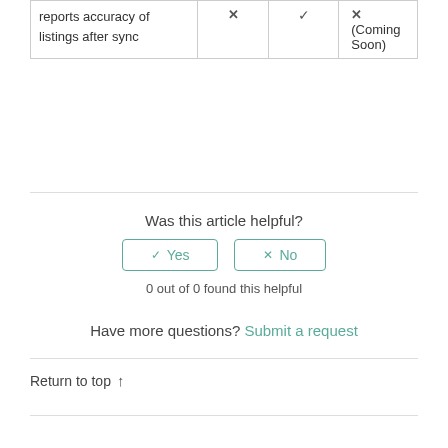| reports accuracy of listings after sync | ✕ | ✓ | ✕ (Coming Soon) |
Was this article helpful?
Yes  No
0 out of 0 found this helpful
Have more questions? Submit a request
Return to top ↑